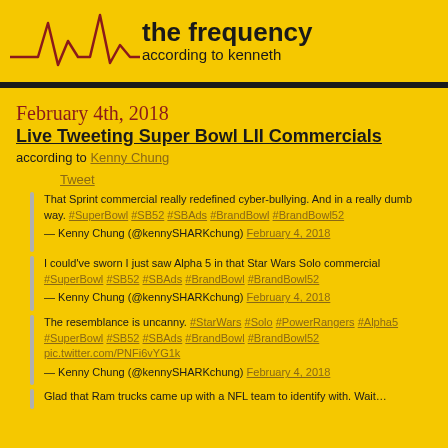the frequency according to kenneth
February 4th, 2018
Live Tweeting Super Bowl LII Commercials
according to Kenny Chung
Tweet
That Sprint commercial really redefined cyber-bullying. And in a really dumb way. #SuperBowl #SB52 #SBAds #BrandBowl #BrandBowl52
— Kenny Chung (@kennySHARKchung) February 4, 2018
I could've sworn I just saw Alpha 5 in that Star Wars Solo commercial #SuperBowl #SB52 #SBAds #BrandBowl #BrandBowl52
— Kenny Chung (@kennySHARKchung) February 4, 2018
The resemblance is uncanny. #StarWars #Solo #PowerRangers #Alpha5 #SuperBowl #SB52 #SBAds #BrandBowl #BrandBowl52 pic.twitter.com/PNFi6vYG1k
— Kenny Chung (@kennySHARKchung) February 4, 2018
Glad that Ram trucks came up with a NFL team to identify with. Wait…